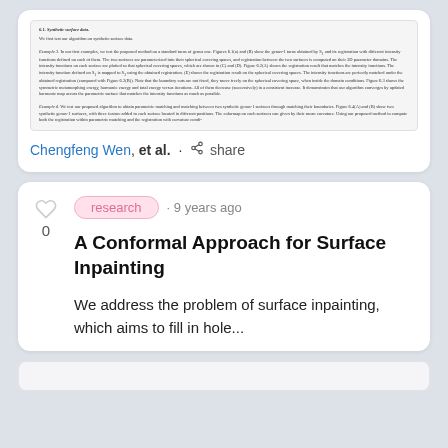[Figure (screenshot): Partial view of a scientific paper page showing sections on synthetic surface data (6.1), Example 3 and Example 4, with dense small text describing experiments with intensity functions, registration, and parametric matching between synthetic genus-1 surfaces.]
Chengfeng Wen, et al. · share
research · 9 years ago
A Conformal Approach for Surface Inpainting
We address the problem of surface inpainting, which aims to fill in hole...